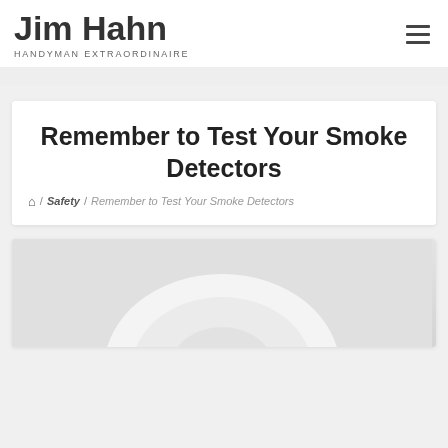Jim Hahn
HANDYMAN EXTRAORDINAIRE
Remember to Test Your Smoke Detectors
🏠 / Safety / Remember to Test Your Smoke Detectors
[Figure (photo): Smoke detector photographed from below against a light grey background, showing a white circular device]